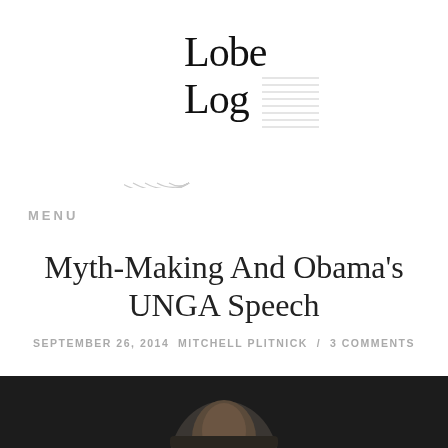[Figure (logo): Lobe Log website logo with serif text 'Lobe Log' and decorative concentric arcs and horizontal lines graphic element]
MENU
Myth-Making And Obama's UNGA Speech
SEPTEMBER 26, 2014  MITCHELL PLITNICK  /  3 COMMENTS
[Figure (photo): Partial photo of a person (Obama) speaking, dark background, bottom portion of image cropped]